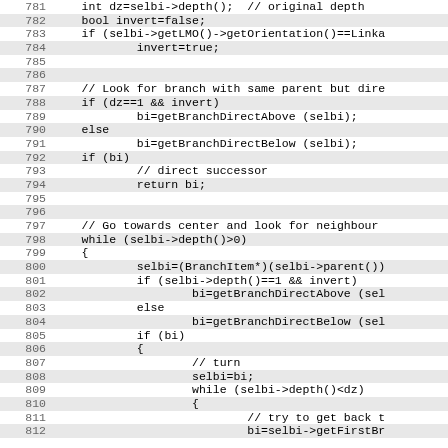Source code listing lines 781-812
781: int dz=selbi->depth();  // original depth
782: bool invert=false;
783: if (selbi->getLMO()->getOrientation()==Linka
784:         invert=true;
785:
786:
787:     // Look for branch with same parent but dire
788:     if (dz==1 && invert)
789:             bi=getBranchDirectAbove (selbi);
790:     else
791:             bi=getBranchDirectBelow (selbi);
792:     if (bi)
793:             // direct successor
794:             return bi;
795:
796:
797:     // Go towards center and look for neighbour
798:     while (selbi->depth()>0)
799:     {
800:             selbi=(BranchItem*)(selbi->parent())
801:             if (selbi->depth()==1 && invert)
802:                     bi=getBranchDirectAbove (sel
803:             else
804:                     bi=getBranchDirectBelow (sel
805:             if (bi)
806:             {
807:                     // turn
808:                     selbi=bi;
809:                     while (selbi->depth()<dz)
810:                     {
811:                             // try to get back t
812:                             bi=selbi->getFirstBr